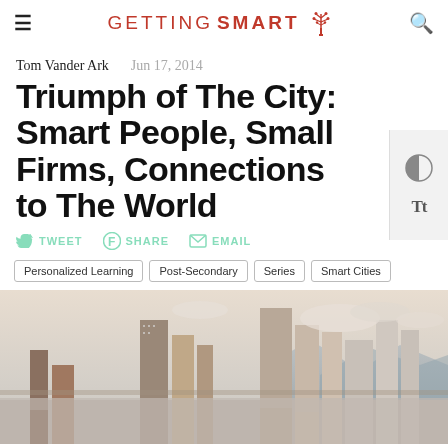GETTING SMART
Tom Vander Ark   Jun 17, 2014
Triumph of The City: Smart People, Small Firms, Connections to The World
TWEET   SHARE   EMAIL
Personalized Learning   Post-Secondary   Series   Smart Cities
[Figure (photo): City skyline photograph with tall modern buildings and mountains in the background under a cloudy sky]